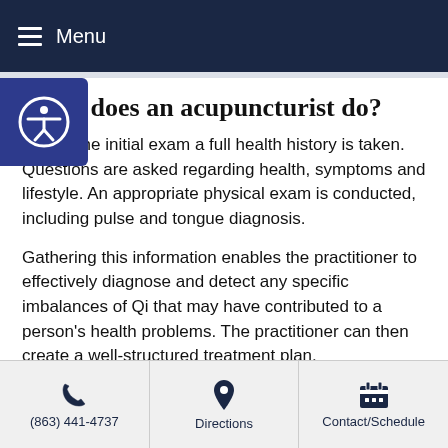Menu
What does an acupuncturist do?
During the initial exam a full health history is taken. Questions are asked regarding health, symptoms and lifestyle. An appropriate physical exam is conducted, including pulse and tongue diagnosis.
Gathering this information enables the practitioner to effectively diagnose and detect any specific imbalances of Qi that may have contributed to a person's health problems. The practitioner can then create a well-structured treatment plan.
Once the imbalances of Qi are detected, an acupuncturist will place fine, sterile needles at specific acupoints along meridian pathways. This safe and painless insertion of the needles can
(863) 441-4737   Directions   Contact/Schedule